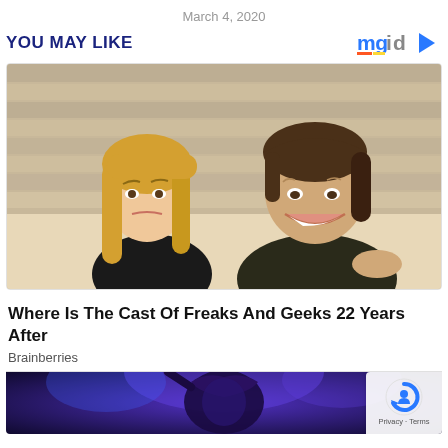March 4, 2020
YOU MAY LIKE
[Figure (photo): Two young people sitting in bleachers — a blonde woman on the left looking sideways with a concerned expression, and a young man on the right smiling/laughing, wearing a dark sleeveless shirt.]
Where Is The Cast Of Freaks And Geeks 22 Years After
Brainberries
[Figure (photo): Partial image of a person under blue/purple stage lighting, partially visible at the bottom of the page.]